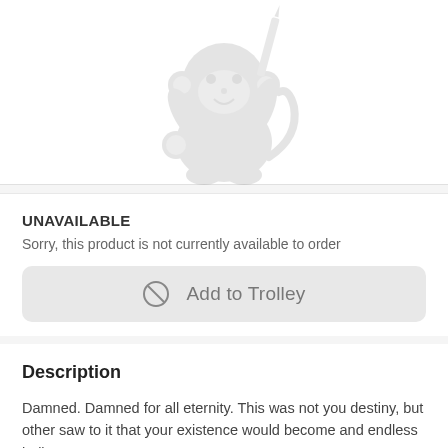[Figure (illustration): Cartoon monkey illustration holding a pencil, shown in light gray, partially cropped at top]
UNAVAILABLE
Sorry, this product is not currently available to order
Add to Trolley
Description
Damned. Damned for all eternity. This was not you destiny, but other saw to it that your existence would become and endless hell. You are